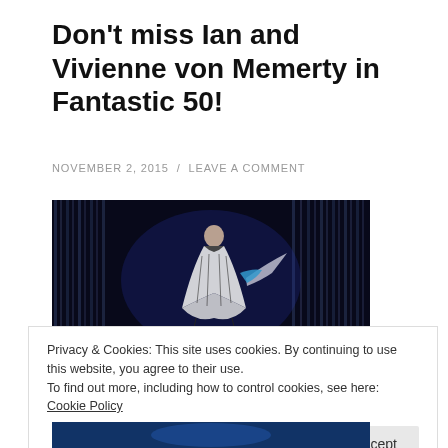Don't miss Ian and Vivienne von Memerty in Fantastic 50!
NOVEMBER 2, 2015  /  LEAVE A COMMENT
[Figure (photo): Two dancers performing on stage with blue and silver striped costume lighting effects in the background. The female dancer in a black and white geometric costume is lifted or supported by a male dancer on a dark stage with vertical light curtains.]
Privacy & Cookies: This site uses cookies. By continuing to use this website, you agree to their use.
To find out more, including how to control cookies, see here: Cookie Policy
Close and accept
[Figure (photo): Bottom portion of another performance photo, partially visible.]